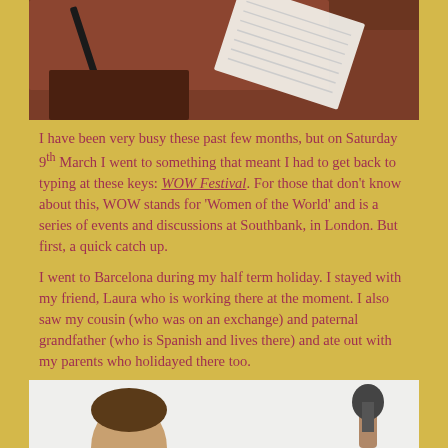[Figure (photo): Top photo showing a notebook/paper with lines and a pencil on a dark brown surface]
I have been very busy these past few months, but on Saturday 9th March I went to something that meant I had to get back to typing at these keys: WOW Festival. For those that don't know about this, WOW stands for 'Women of the World' and is a series of events and discussions at Southbank, in London. But first, a quick catch up.
I went to Barcelona during my half term holiday. I stayed with my friend, Laura who is working there at the moment. I also saw my cousin (who was on an exchange) and paternal grandfather (who is Spanish and lives there) and ate out with my parents who holidayed there too.
[Figure (photo): Bottom photo showing partial head/hair of a person on the left and a microphone on the right against a light background]